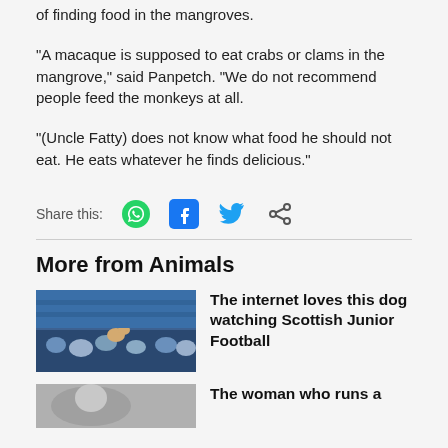of finding food in the mangroves.
“A macaque is supposed to eat crabs or clams in the mangrove,” said Panpetch. “We do not recommend people feed the monkeys at all.
“(Uncle Fatty) does not know what food he should not eat. He eats whatever he finds delicious.”
Share this:
More from Animals
The internet loves this dog watching Scottish Junior Football
The woman who runs a